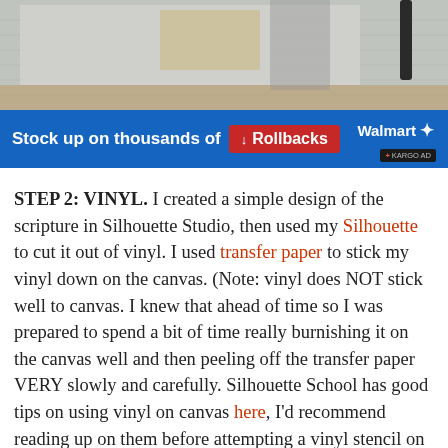[Figure (photo): Photo of a canvas with pencil sketch/tracing work on a table, viewed from above]
[Figure (infographic): Walmart Rollbacks advertisement banner: blue background, text 'Stock up on thousands of Rollbacks', Walmart logo, KARGO AD tag]
STEP 2: VINYL. I created a simple design of the scripture in Silhouette Studio, then used my Silhouette to cut it out of vinyl. I used transfer paper to stick my vinyl down on the canvas. (Note: vinyl does NOT stick well to canvas. I knew that ahead of time so I was prepared to spend a bit of time really burnishing it on the canvas well and then peeling off the transfer paper VERY slowly and carefully. Silhouette School has good tips on using vinyl on canvas here, I'd recommend reading up on them before attempting a vinyl stencil on canvas.) If you don't have a Silhouette, you could buy scrapbook sticker letters from the craft store to create the same stencil